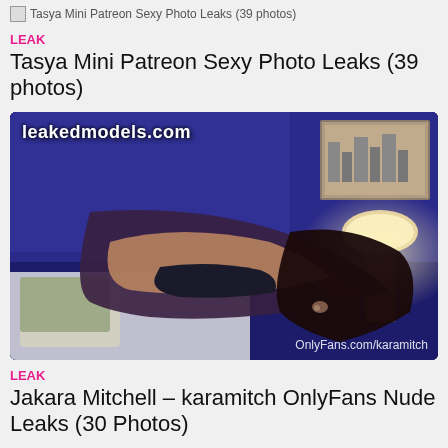Tasya Mini Patreon Sexy Photo Leaks (39 photos)
LEAK
Tasya Mini Patreon Sexy Photo Leaks (39 photos)
[Figure (photo): A dimly lit bedroom scene with watermark text 'leakedmodels.com' in top left and 'OnlyFans.com/karamitch' in bottom right]
LEAK
Jakara Mitchell – karamitch OnlyFans Nude Leaks (30 Photos)